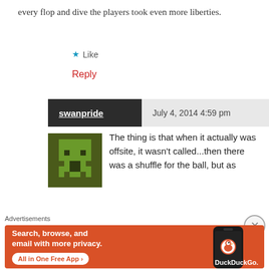every flop and dive the players took even more liberties.
Like
Reply
swanpride   July 4, 2014 4:59 pm
[Figure (illustration): Pixel art avatar of a green space invader alien character on a dark green background]
The thing is that when it actually was offsite, it wasn't called...then there was a shuffle for the ball, but as
Advertisements
[Figure (screenshot): DuckDuckGo advertisement banner with orange background. Text: Search, browse, and email with more privacy. All in One Free App. Shows a phone with DuckDuckGo logo.]